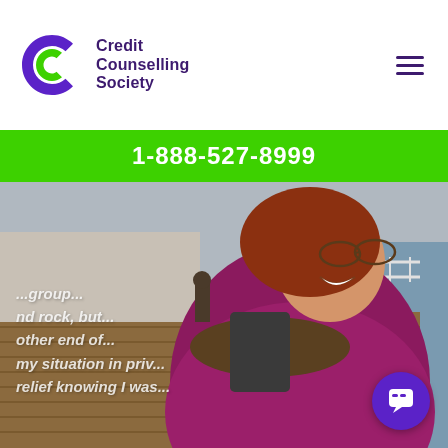[Figure (logo): Credit Counselling Society logo with purple C icon and text 'Credit Counselling Society']
1-888-527-8999
[Figure (photo): Woman with red hair, glasses, and magenta jacket smiling at waterfront boardwalk area. Overlay text partially visible reading credit counselling testimonial phrases.]
...group... and rock, but... other end of... my situation in priv... relief knowing I was...